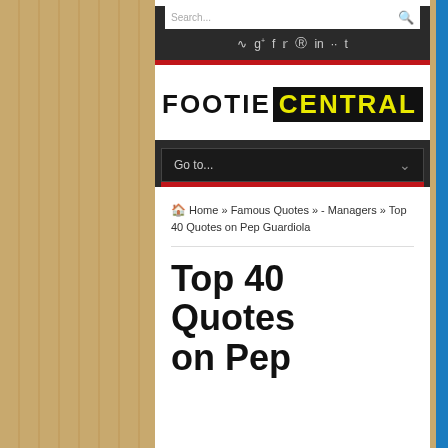FOOTIE CENTRAL
Go to...
🏠 Home » Famous Quotes » - Managers » Top 40 Quotes on Pep Guardiola
Top 40 Quotes on Pep